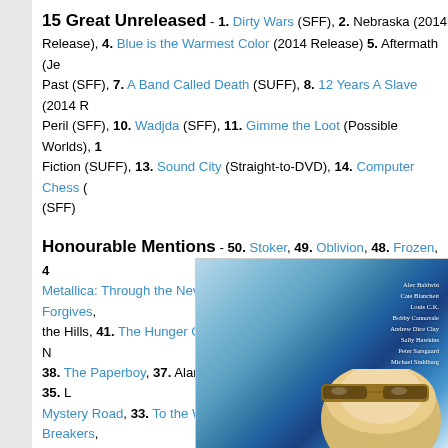15 Great Unreleased - 1. Dirty Wars (SFF), 2. Nebraska (2014 Release), 4. Blue is the Warmest Color (2014 Release) 5. Aftermath (Je... Past (SFF), 7. A Band Called Death (SUFF), 8. 12 Years A Slave (2014 R... Peril (SFF), 10. Wadjda (SFF), 11. Gimme the Loot (Possible Worlds), 1... Fiction (SUFF), 13. Sound City (Straight-to-DVD), 14. Computer Chess (...) (SFF)
Honourable Mentions - 50. Stoker, 49. Oblivion, 48. Frozen, 4... Metallica: Through the Never, 45. The Conjuring, 44. Only God Forgives, ... the Hills, 41. The Hunger Games: Catching Fire, 40. The Spectacular N... 38. The Paperboy, 37. Alan Partridge: Alpha Papa, 36. Pacific Rim, 35. L... Mystery Road, 33. To the Wonder, 32. Frances Ha, 31. Spring Breakers, ... Hustle, 28. Laurence Anyways, 27. No, 26. Mud...
[Figure (photo): Movie poster with blue abstract background and cast list on the right including Alec Baldwin, Cate Blanchett, Louis C.K., Bobby Cannavale, Andrew Dice Clay, Sally Hawkins, Peter Sarsgaard, Michael Stuhlbarg. Bottom portion shows a woman with blonde hair and sunglasses.]